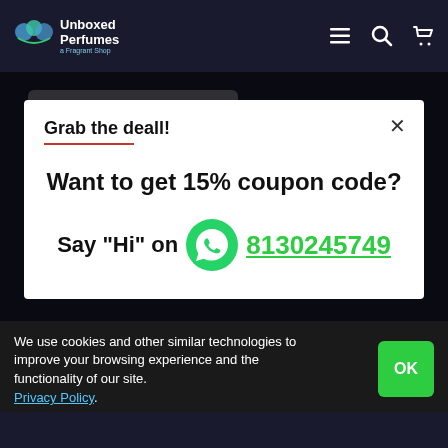Unboxed Perfumes
Grab the deall!
Want to get 15% coupon code?
Say "Hi" on 8130245749
We use cookies and other similar technologies to improve your browsing experience and the functionality of our site. Privacy Policy.